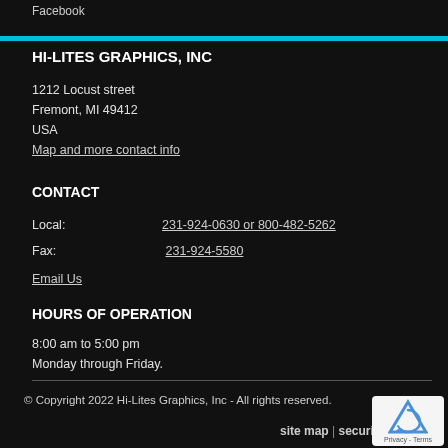Facebook
HI-LITES GRAPHICS, INC
1212 Locust street
Fremont, MI 49412
USA
Map and more contact info
CONTACT
Local:  231-924-0630 or 800-482-5262
Fax:  231-924-5580
Email Us
HOURS OF OPERATION
8:00 am to 5:00 pm
Monday through Friday.
© Copyright 2022 Hi-Lites Graphics, Inc - All rights reserved.
site map | security a